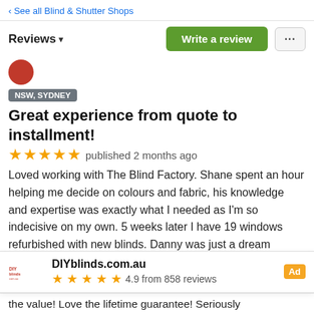‹ See all Blind & Shutter Shops
Reviews ▾
Write a review
NSW, SYDNEY
Great experience from quote to installment!
★★★★★ published 2 months ago
Loved working with The Blind Factory. Shane spent an hour helping me decide on colours and fabric, his knowledge and expertise was exactly what I needed as I'm so indecisive on my own. 5 weeks later I have 19 windows refurbished with new blinds. Danny was just a dream installer. The whole
DIYblinds.com.au — Ad — 4.9 from 858 reviews
the value! Love the lifetime guarantee! Seriously